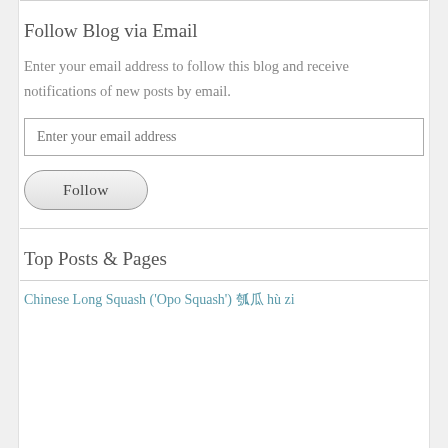Follow Blog via Email
Enter your email address to follow this blog and receive notifications of new posts by email.
Enter your email address
Follow
Top Posts & Pages
Chinese Long Squash ('Opo Squash') 瓠瓜 hù zi